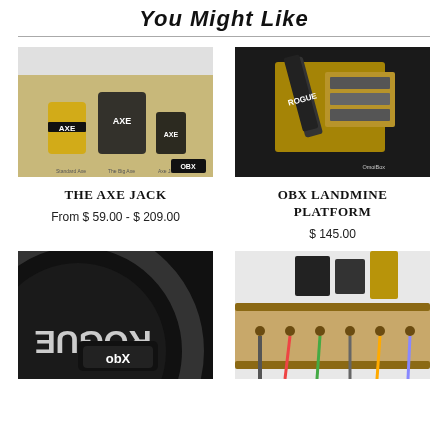You Might Like
[Figure (photo): Photo of The Axe Jack wooden barbell jack product with AXE branding, showing Standard Axe, The Big Axe, and Axe Jack sizes with OBX logo]
[Figure (photo): Photo of OBX Landmine Platform, a wooden and metal device with Rogue branding, shown on a black surface with OmoiBox logo]
THE AXE JACK
OBX LANDMINE PLATFORM
From $ 59.00 - $ 209.00
$ 145.00
[Figure (photo): Close-up photo of a circular Rogue weight plate with OBX logo shown at bottom, dark background]
[Figure (photo): Photo of a wooden wall-mounted rack holding resistance bands and fitness accessories in a garage gym setting]